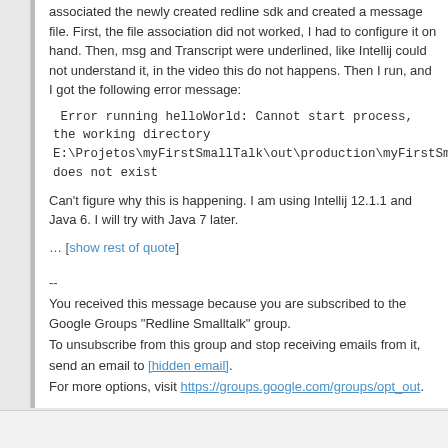associated the newly created redline sdk and created a message file. First, the file association did not worked, I had to configure it on hand. Then, msg and Transcript were underlined, like Intellij could not understand it, in the video this do not happens. Then I run, and I got the following error message:
Error running helloWorld: Cannot start process, the working directory E:\Projetos\myFirstSmallTalk\out\production\myFirstSm... does not exist
Can't figure why this is happening. I am using Intellij 12.1.1 and Java 6. I will try with Java 7 later.
… [show rest of quote]
--
You received this message because you are subscribed to the Google Groups "Redline Smalltalk" group.
To unsubscribe from this group and stop receiving emails from it, send an email to [hidden email].
For more options, visit https://groups.google.com/groups/opt_out.
Vitor Medina Cruz
Reply | Threaded | More »